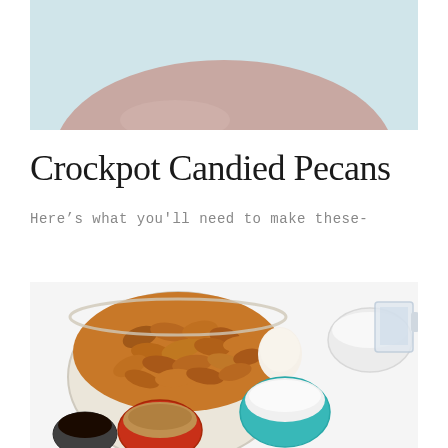[Figure (photo): Top portion of a pink/beige ceramic bowl on a light blue background, cropped at bottom]
Crockpot Candied Pecans
Here's what you'll need to make these-
[Figure (photo): Overhead view of ingredients for candied pecans: a large glass bowl of pecan halves, an egg, small bowls with sugar (teal rim), brown sugar (red rim), white bowl, a measuring cup, a small bowl of vanilla extract, all on a white surface]